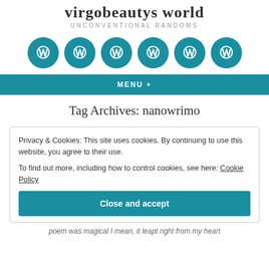virgobeautys world
UNCONVENTIONAL RANDOMS
[Figure (illustration): Six teal circular WordPress logo icons in a horizontal row]
MENU +
Tag Archives: nanowrimo
Privacy & Cookies: This site uses cookies. By continuing to use this website, you agree to their use.
To find out more, including how to control cookies, see here: Cookie Policy
Close and accept
poem was magical I mean, it leapt right from my heart